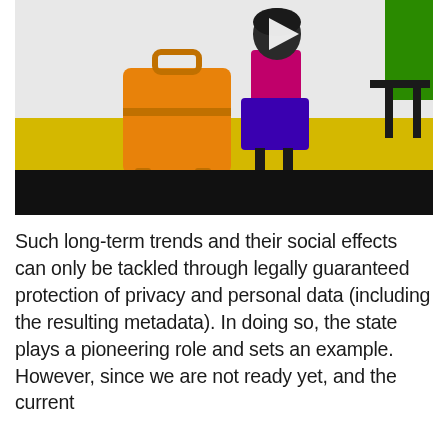[Figure (illustration): Animated illustration showing a stick-figure person with dark hair wearing a purple skirt and magenta top, standing next to a large orange suitcase, on a yellow floor against a grey background with a green element on the right. A play button triangle is visible. The bottom portion of the image is a black bar (video player controls area).]
Such long-term trends and their social effects can only be tackled through legally guaranteed protection of privacy and personal data (including the resulting metadata). In doing so, the state plays a pioneering role and sets an example. However, since we are not ready yet, and the current